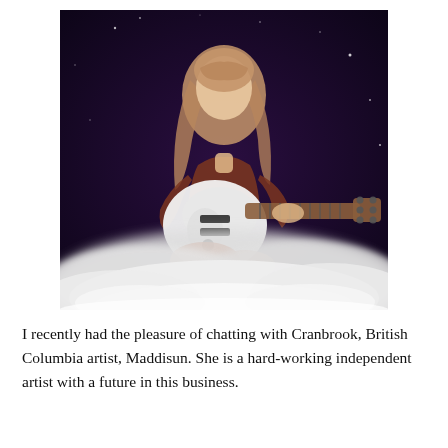[Figure (photo): A young woman with long blonde hair sits cross-legged holding a white electric guitar, surrounded by billowing white fog/smoke, against a dark purple/black background with stars.]
I recently had the pleasure of chatting with Cranbrook, British Columbia artist, Maddisun. She is a hard-working independent artist with a future in this business.